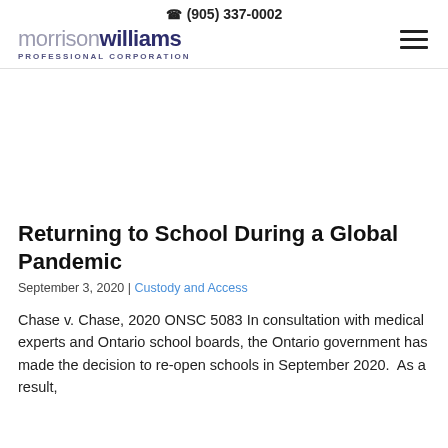(905) 337-0002 | morrison williams PROFESSIONAL CORPORATION
Returning to School During a Global Pandemic
September 3, 2020 | Custody and Access
Chase v. Chase, 2020 ONSC 5083 In consultation with medical experts and Ontario school boards, the Ontario government has made the decision to re-open schools in September 2020. As a result,